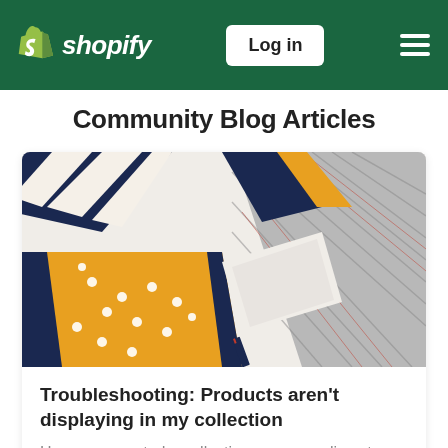Shopify — Log in
Community Blog Articles
[Figure (photo): Overhead flat-lay photo of folded pocket squares and ties in various patterns: yellow with white polka dots, navy and white stripes, plaid grey, navy/yellow diagonal stripe, on a white background.]
Troubleshooting: Products aren't displaying in my collection
Have you created a collection on your online store and experienced an issue with adding yo...